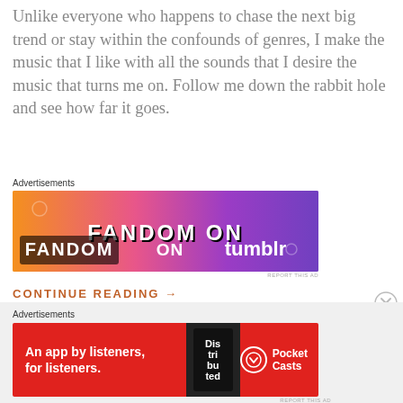Unlike everyone who happens to chase the next big trend or stay within the confounds of genres, I make the music that I like with all the sounds that I desire the music that turns me on. Follow me down the rabbit hole and see how far it goes.
Advertisements
[Figure (screenshot): Advertisement banner for Fandom on Tumblr with orange-to-purple gradient background and white text reading FANDOM ON tumblr]
CONTINUE READING → WHILE LISTENING
Advertisements
[Figure (screenshot): Advertisement banner for Pocket Casts: red background with text 'An app by listeners, for listeners.' and Pocket Casts logo]